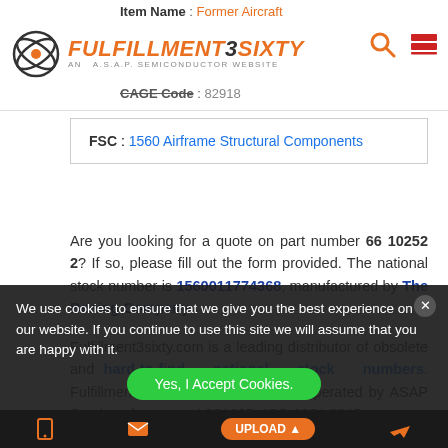Item Name : Former Aircraft
[Figure (logo): Fulfillment3sixty logo — ASAP Semiconductor website logo with orbital icon]
CAGE Code : 82918
| FSC : 1560 Airframe Structural Components |
Are you looking for a quote on part number 66 10252 2? If so, please fill out the form provided. The national stock number is 1560011774368, manufactured by The Boeing Company.
Fulfillment3sixty.com is a leading distributor of obsolete and hard-to-find national stock numbers. Fulfillment3sixty.com is owned and operated by ASAP Semiconductor, an AS9120B, ISO 9001:2015 company. We stock a vast inventory of over 10 million parts which are sourced from over 5,000 manufacturers.
We use cookies to ensure that we give you the best experience on our website. If you continue to use this site we will assume that you are happy with it.
Yes, I Accept Cookies. | UPLOAD